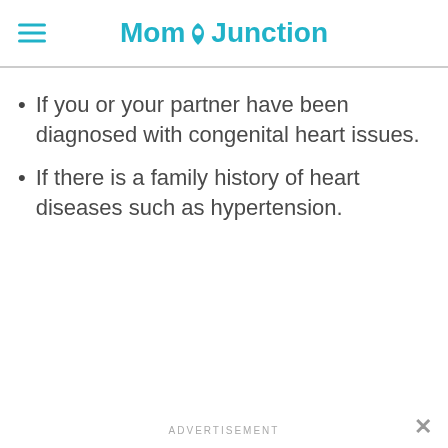MomJunction
If you or your partner have been diagnosed with congenital heart issues.
If there is a family history of heart diseases such as hypertension.
ADVERTISEMENT